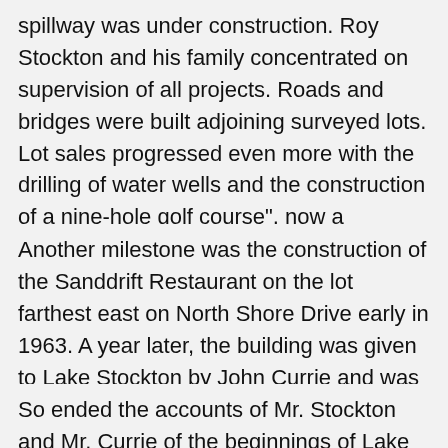spillway was under construction. Roy Stockton and his family concentrated on supervision of all projects. Roads and bridges were built adjoining surveyed lots. Lot sales progressed even more with the drilling of water wells and the construction of a nine-hole golf course", now a eighteen-hole golf course.
Another milestone was the construction of the Sanddrift Restaurant on the lot farthest east on North Shore Drive early in 1963. A year later, the building was given to Lake Stockton by John Currie and was moved to the present clubhouse location. During this year the lake filled, “and there appeared a most beautiful body of water surrounded by cottonwood trees and cedar-covered bluffs.”
So ended the accounts of Mr. Stockton and Mr. Currie of the beginnings of Lake Tanglewood, but of course